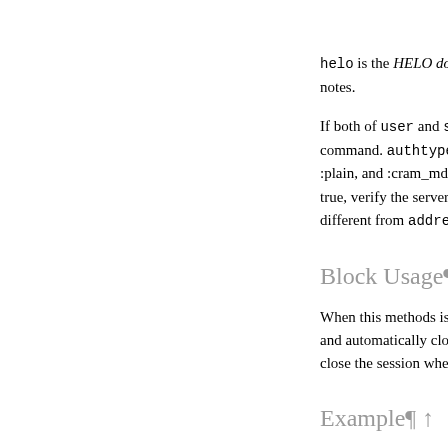helo is the HELO domain... notes.
If both of user and secr... command. authtype spe... :plain, and :cram_md5.... true, verify the server's c... different from address,...
Block Usage¶ ↑
When this methods is ca... and automatically close... close the session when f...
Example¶ ↑
This is very similar to th...